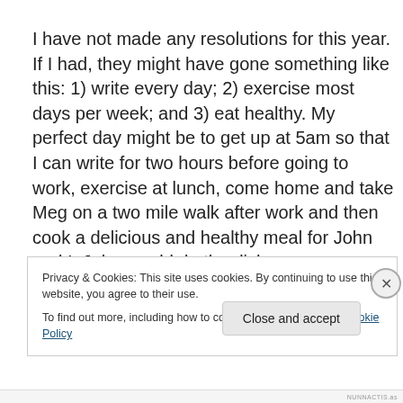I have not made any resolutions for this year. If I had, they might have gone something like this: 1) write every day; 2) exercise most days per week; and 3) eat healthy. My perfect day might be to get up at 5am so that I can write for two hours before going to work, exercise at lunch, come home and take Meg on a two mile walk after work and then cook a delicious and healthy meal for John and I. John would do the dishes.
Privacy & Cookies: This site uses cookies. By continuing to use this website, you agree to their use.
To find out more, including how to control cookies, see here: Cookie Policy
Close and accept
NUNNACTIS.as